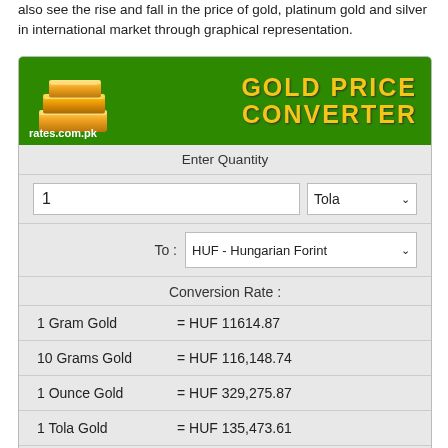also see the rise and fall in the price of gold, platinum gold and silver in international market through graphical representation.
[Figure (screenshot): Gold Price Converter widget from rates.com.pk showing conversion of 1 Tola gold to HUF - Hungarian Forint. Shows conversion rates: 1 Gram Gold = HUF 11614.87, 10 Grams Gold = HUF 116,148.74, 1 Ounce Gold = HUF 329,275.87, 1 Tola Gold = HUF 135,473.61, 1 Masha Gold = HUF 11,289.47, 1 Ratti Gold = HUF 1,408.30]